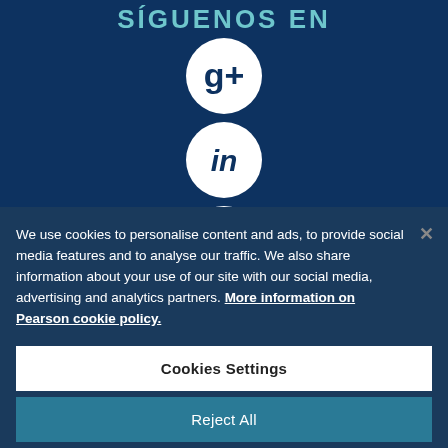SÍGUENOS EN
[Figure (illustration): Three social media icons arranged vertically: Google+, LinkedIn, and Facebook, each as white circle buttons on dark blue background. A fourth partially visible circle at the bottom.]
We use cookies to personalise content and ads, to provide social media features and to analyse our traffic. We also share information about your use of our site with our social media, advertising and analytics partners. More information on Pearson cookie policy.
Cookies Settings
Reject All